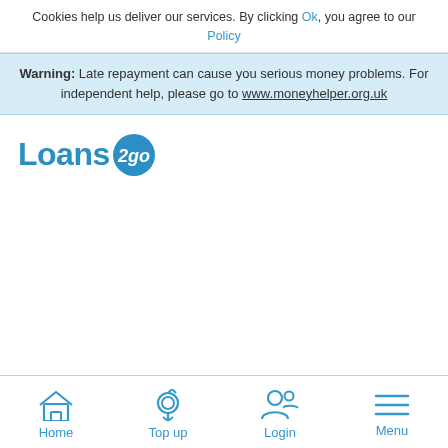Cookies help us deliver our services. By clicking Ok, you agree to our Policy
Warning: Late repayment can cause you serious money problems. For independent help, please go to www.moneyhelper.org.uk
[Figure (logo): Loans2go logo with blue text and circular badge]
Home | Top up | Login | Menu